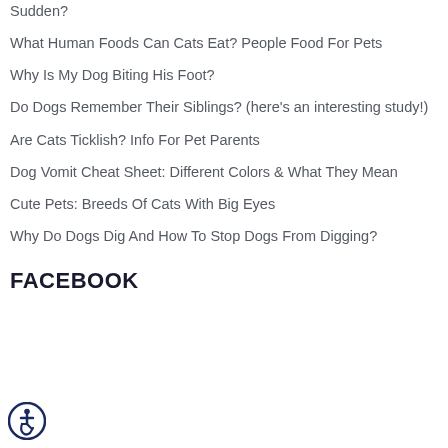Sudden?
What Human Foods Can Cats Eat? People Food For Pets
Why Is My Dog Biting His Foot?
Do Dogs Remember Their Siblings? (here's an interesting study!)
Are Cats Ticklish? Info For Pet Parents
Dog Vomit Cheat Sheet: Different Colors & What They Mean
Cute Pets: Breeds Of Cats With Big Eyes
Why Do Dogs Dig And How To Stop Dogs From Digging?
FACEBOOK
[Figure (logo): Accessibility icon - circular badge with wheelchair symbol in dark navy blue border]